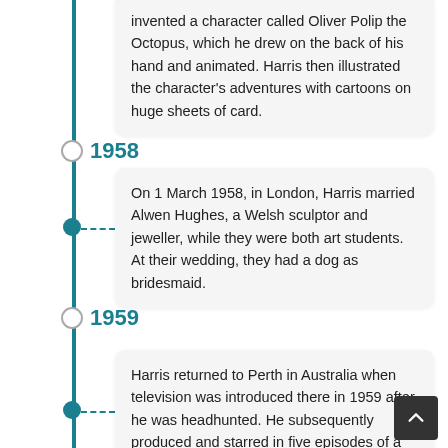invented a character called Oliver Polip the Octopus, which he drew on the back of his hand and animated. Harris then illustrated the character's adventures with cartoons on huge sheets of card.
1958
On 1 March 1958, in London, Harris married Alwen Hughes, a Welsh sculptor and jeweller, while they were both art students. At their wedding, they had a dog as bridesmaid.
1959
Harris returned to Perth in Australia when television was introduced there in 1959 after he was headhunted. He subsequently produced and starred in five episodes of a half-hour weekly children's show, as well as his own weekly evening variety show. From 1959, he worked on TVW-7's first locally